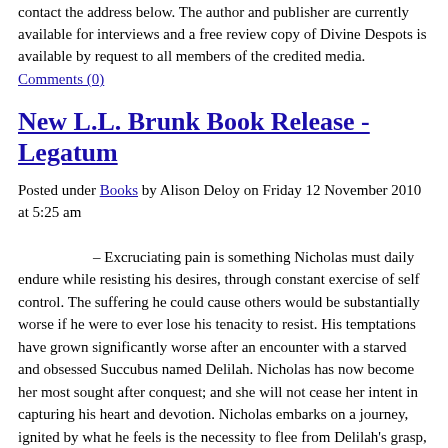contact the address below. The author and publisher are currently available for interviews and a free review copy of Divine Despots is available by request to all members of the credited media.
Comments (0)
New L.L. Brunk Book Release - Legatum
Posted under Books by Alison Deloy on Friday 12 November 2010 at 5:25 am
– Excruciating pain is something Nicholas must daily endure while resisting his desires, through constant exercise of self control. The suffering he could cause others would be substantially worse if he were to ever lose his tenacity to resist. His temptations have grown significantly worse after an encounter with a starved and obsessed Succubus named Delilah. Nicholas has now become her most sought after conquest; and she will not cease her intent in capturing his heart and devotion. Nicholas embarks on a journey, ignited by what he feels is the necessity to flee from Delilah's grasp, in his fear for the safety of others. He discovers an unusual world during his journey, far stranger than he could have ever imagined. A world where the unanswered questions he's always longed for, start to unveil more than just who and what he